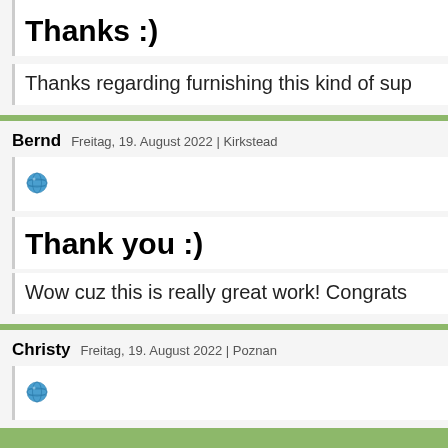Thanks :)
Thanks regarding furnishing this kind of sup
Bernd   Freitag, 19. August 2022 | Kirkstead
Thank you :)
Wow cuz this is really great work! Congrats
Christy   Freitag, 19. August 2022 | Poznan